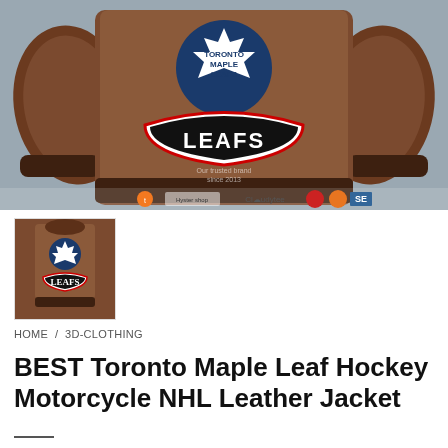[Figure (photo): Back view of a brown leather motorcycle jacket with Toronto Maple Leafs NHL branding. The jacket features a large blue maple leaf logo with 'TORONTO MAPLE LEAFS' text at the top, and a curved 'LEAFS' patch in black and white below it. Watermarks from various stores visible at bottom including 'Our trusted brand since 2013', Cloudytee, and other logos.]
[Figure (photo): Thumbnail image showing back view of the same Toronto Maple Leafs brown leather jacket, smaller size.]
HOME / 3D-CLOTHING
BEST Toronto Maple Leaf Hockey Motorcycle NHL Leather Jacket